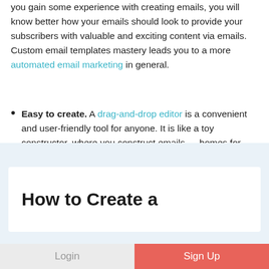you gain some experience with creating emails, you will know better how your emails should look to provide your subscribers with valuable and exciting content via emails. Custom email templates mastery leads you to a more automated email marketing in general.
Easy to create. A drag-and-drop editor is a convenient and user-friendly tool for anyone. It is like a toy constructor, where you construct emails — homes for your brand.
[Figure (screenshot): Blue background section with white card showing 'How to Create a' title text]
How to Create a
Login | Sign Up